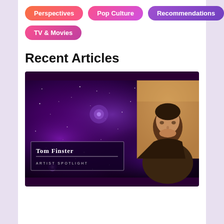Perspectives
Pop Culture
Recommendations
TV & Movies
Recent Articles
[Figure (photo): Artist spotlight image showing Tom Finster with a purple galaxy-themed background and a photo of a young man in a brown hoodie on the right side. Text overlay reads 'Tom Finster' and 'ARTIST SPOTLIGHT'.]